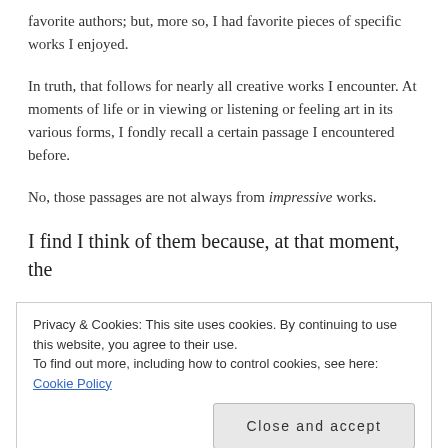favorite authors; but, more so, I had favorite pieces of specific works I enjoyed.
In truth, that follows for nearly all creative works I encounter. At moments of life or in viewing or listening or feeling art in its various forms, I fondly recall a certain passage I encountered before.
No, those passages are not always from impressive works.
I find I think of them because, at that moment, the
Privacy & Cookies: This site uses cookies. By continuing to use this website, you agree to their use.
To find out more, including how to control cookies, see here: Cookie Policy
Close and accept